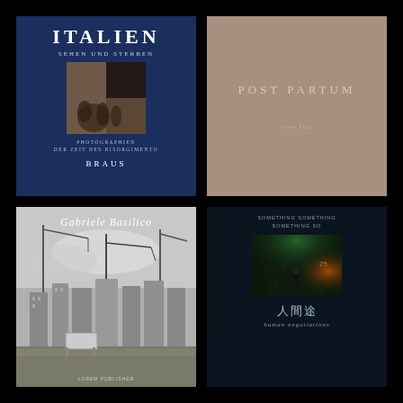[Figure (photo): Book cover: ITALIEN SEHEN UND STERBEN, dark blue cover with sepia photograph of figures, published by BRAUS. Subtitle: PHOTOGRAPHIEN DER ZEIT DES RISORGIMENTO]
[Figure (photo): Book cover: POST PARTUM, plain taupe/brown cover with minimal text, author name at bottom]
[Figure (photo): Book cover: Gabriele Basilico, black and white photograph of construction cranes and urban buildings]
[Figure (photo): Book cover: Chinese title 人間途 / human negotiations, dark cover with photograph of person in tunnel with green/orange light]